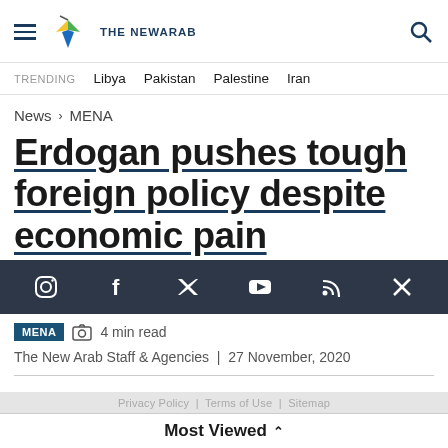THE NEWARAB
TRENDING  Libya  Pakistan  Palestine  Iran
News › MENA
Erdogan pushes tough foreign policy despite economic pain
[Figure (infographic): Social media share bar with icons: Instagram, Facebook, Twitter, YouTube, RSS, close (X)]
MENA  4 min read
The New Arab Staff & Agencies  |  27 November, 2020
Privacy Policy | Terms of Use | Sitemap
Most Viewed ^